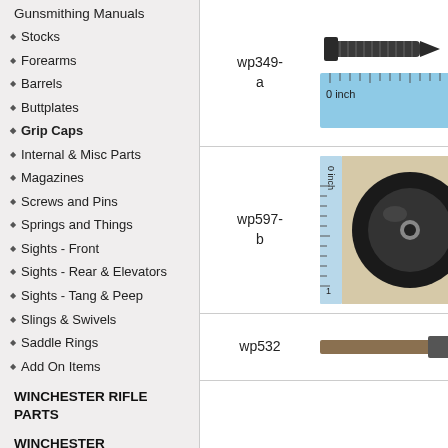Gunsmithing Manuals
Stocks
Forearms
Barrels
Buttplates
Grip Caps
Internal & Misc Parts
Magazines
Screws and Pins
Springs and Things
Sights - Front
Sights - Rear & Elevators
Sights - Tang & Peep
Slings & Swivels
Saddle Rings
Add On Items
WINCHESTER RIFLE PARTS
WINCHESTER SHOTGUNS
wp349-a
[Figure (photo): A screw with a ruler showing approximately 1 inch length]
wp597-b
[Figure (photo): A round grip cap with a ruler showing approximately 1 inch diameter]
wp532
[Figure (photo): A partially visible bar/pin part]